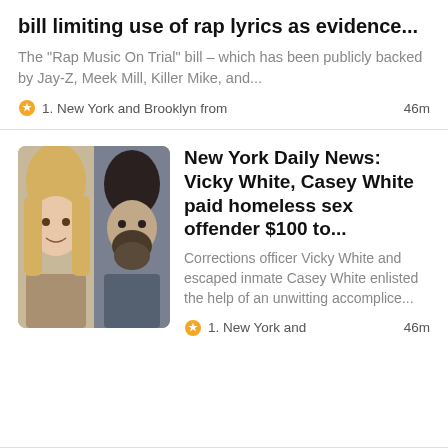bill limiting use of rap lyrics as evidence...
The "Rap Music On Trial" bill – which has been publicly backed by Jay-Z, Meek Mill, Killer Mike, and...
1. New York and Brooklyn from   46m
[Figure (photo): Side-by-side mugshot photos of a blonde woman (Vicky White) and a dark-haired bearded man (Casey White)]
New York Daily News: Vicky White, Casey White paid homeless sex offender $100 to...
Corrections officer Vicky White and escaped inmate Casey White enlisted the help of an unwitting accomplice...
1. New York and   46m